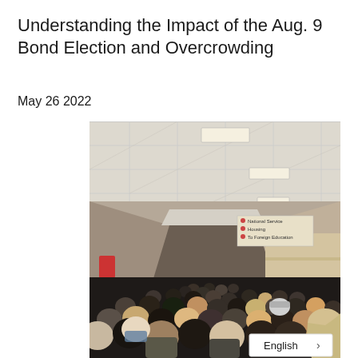Understanding the Impact of the Aug. 9 Bond Election and Overcrowding
May 26 2022
[Figure (photo): Crowded school hallway filled with students, showing an overcrowded corridor with beige tile walls and institutional ceiling tiles with fluorescent lights. A sign hangs from the ceiling listing school services. Students are packed tightly together walking through the hallway.]